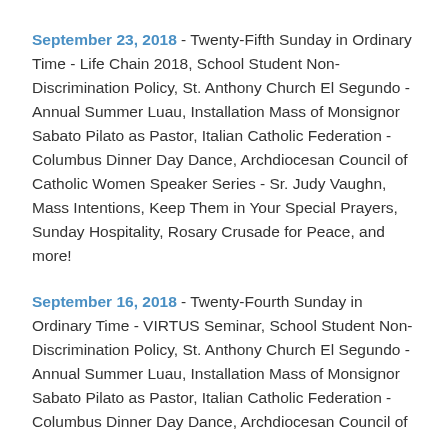September 23, 2018 - Twenty-Fifth Sunday in Ordinary Time - Life Chain 2018, School Student Non-Discrimination Policy, St. Anthony Church El Segundo - Annual Summer Luau, Installation Mass of Monsignor Sabato Pilato as Pastor, Italian Catholic Federation - Columbus Dinner Day Dance, Archdiocesan Council of Catholic Women Speaker Series - Sr. Judy Vaughn, Mass Intentions, Keep Them in Your Special Prayers, Sunday Hospitality, Rosary Crusade for Peace, and more!
September 16, 2018 - Twenty-Fourth Sunday in Ordinary Time - VIRTUS Seminar, School Student Non-Discrimination Policy, St. Anthony Church El Segundo - Annual Summer Luau, Installation Mass of Monsignor Sabato Pilato as Pastor, Italian Catholic Federation - Columbus Dinner Day Dance, Archdiocesan Council of